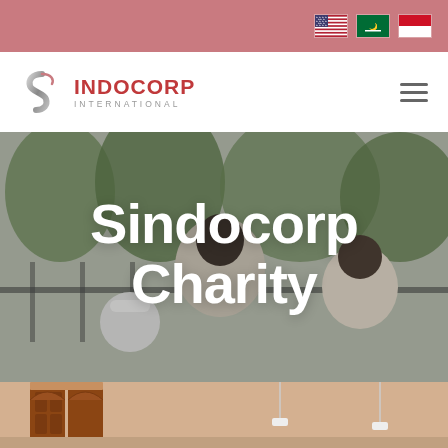Top navigation bar with language flags (US, Saudi Arabia, Indonesia)
[Figure (logo): Sindocorp International logo with stylized S icon and company name]
Sindocorp Charity
[Figure (photo): Background photo of people outdoors at a charity event, with trees and a gate visible]
[Figure (photo): Bottom strip photo showing a building exterior with ornate wooden doors]